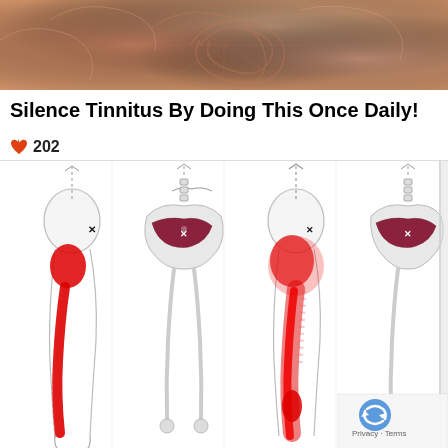[Figure (photo): Close-up photo of skin texture, showing warm pinkish-tan tones with radial/swirling pattern]
Silence Tinnitus By Doing This Once Daily!
🔥 202
[Figure (illustration): Medical illustration showing four anatomical diagrams of hip and leg pain referral patterns from piriformis/gluteal trigger points. Red areas show pain zones radiating from buttock down the leg. X marks indicate trigger point locations. Two posterior views and two views showing skeletal anatomy with muscle highlighted in dark red.]